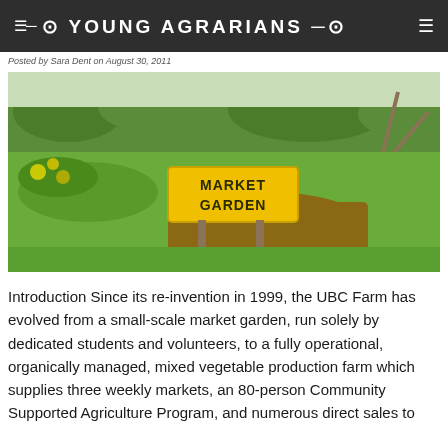YOUNG AGRARIANS
Posted by Sara Dent on August 30, 2011
[Figure (photo): Outdoor market garden with a yellow sign reading MARKET GARDEN on two wooden posts, surrounded by green grass and vegetable beds with trees in the background.]
Introduction Since its re-invention in 1999, the UBC Farm has evolved from a small-scale market garden, run solely by dedicated students and volunteers, to a fully operational, organically managed, mixed vegetable production farm which supplies three weekly markets, an 80-person Community Supported Agriculture Program, and numerous direct sales to